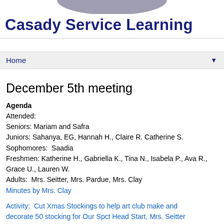[Figure (illustration): Gray arc/dome shape at top of page, part of Casady Service Learning logo header]
Casady Service Learning
Home ▼
December 5th meeting
Agenda
Attended:
Seniors: Mariam and Safra
Juniors: Sahanya, EG, Hannah H., Claire R. Catherine S.
Sophomores:  Saadia
Freshmen: Katherine H., Gabriella K., Tina N., Isabela P., Ava R., Grace U., Lauren W.
Adults:  Mrs. Seitter, Mrs. Pardue, Mrs. Clay
Minutes by Mrs. Clay
Activity:  Cut Xmas Stockings to help art club make and decorate 50 stocking for Our Spct Head Start, Mrs. Seitter